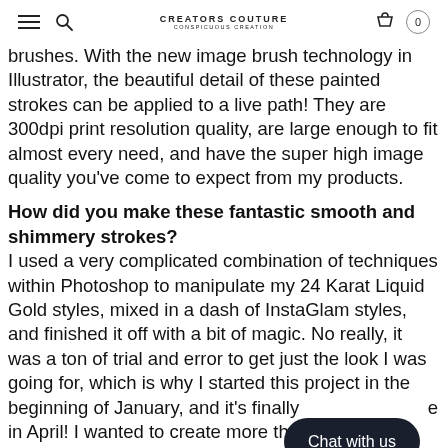CREATORS COUTURE CONSPICUOUS CREATION — 0
brushes. With the new image brush technology in Illustrator, the beautiful detail of these painted strokes can be applied to a live path! They are 300dpi print resolution quality, are large enough to fit almost every need, and have the super high image quality you've come to expect from my products.
How did you make these fantastic smooth and shimmery strokes?
I used a very complicated combination of techniques within Photoshop to manipulate my 24 Karat Liquid Gold styles, mixed in a dash of InstaGlam styles, and finished it off with a bit of magic. No really, it was a ton of trial and error to get just the look I was going for, which is why I started this project in the beginning of January, and it's finally done in April! I wanted to create more than just stroke — I wanted a bit of magic and fantasy, which I think I